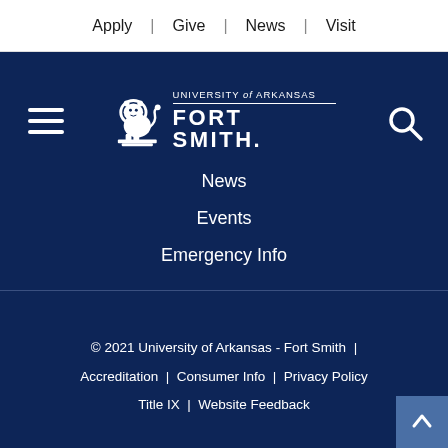Apply | Give | News | Visit
[Figure (logo): University of Arkansas Fort Smith logo with lion mascot on dark navy background, with hamburger menu icon on left and search icon on right]
News
Events
Emergency Info
© 2021 University of Arkansas - Fort Smith | Accreditation | Consumer Info | Privacy Policy | Title IX | Website Feedback